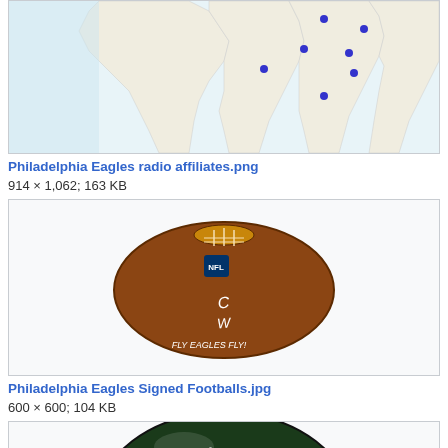[Figure (other): Partial view of a map showing Philadelphia Eagles radio affiliates, with blue dots marking station locations along the US East Coast]
Philadelphia Eagles radio affiliates.png
914 × 1,062; 163 KB
[Figure (photo): An NFL football signed with white autograph ink reading 'FLY EAGLES FLY' on a brown leather Wilson NFL football]
Philadelphia Eagles Signed Footballs.jpg
600 × 600; 104 KB
[Figure (photo): Partial view of a Philadelphia Eagles helmet, dark green with the Eagles logo, with a signature on it]